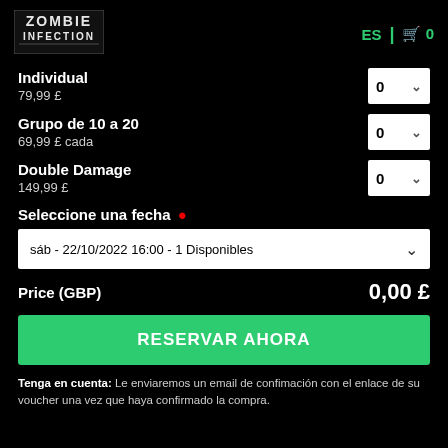ZOMBIE INFECTION | ES | 🛒 0
Individual — 79,99 £ — qty: 0
Grupo de 10 a 20 — 69,99 £ cada — qty: 0
Double Damage — 149,99 £ — qty: 0
Seleccione una fecha *
sáb - 22/10/2022 16:00 - 1 Disponibles
Price (GBP) — 0,00 £
RESERVAR AHORA
Tenga en cuenta: Le enviaremos un email de confimación con el enlace de su voucher una vez que haya confirmado la compra.